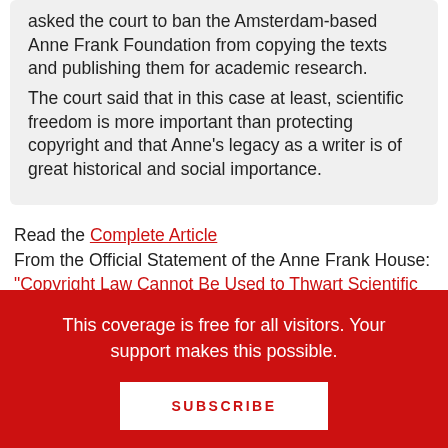asked the court to ban the Amsterdam-based Anne Frank Foundation from copying the texts and publishing them for academic research. The court said that in this case at least, scientific freedom is more important than protecting copyright and that Anne's legacy as a writer is of great historical and social importance.
Read the Complete Article From the Official Statement of the Anne Frank House: "Copyright Law Cannot Be Used to Thwart Scientific Research"
This coverage is free for all visitors. Your support makes this possible.
SUBSCRIBE